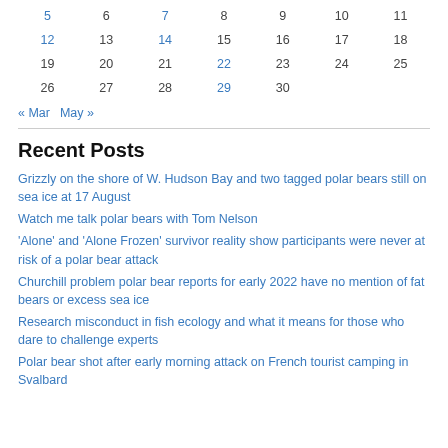| 5 | 6 | 7 | 8 | 9 | 10 | 11 |
| 12 | 13 | 14 | 15 | 16 | 17 | 18 |
| 19 | 20 | 21 | 22 | 23 | 24 | 25 |
| 26 | 27 | 28 | 29 | 30 |  |  |
« Mar   May »
Recent Posts
Grizzly on the shore of W. Hudson Bay and two tagged polar bears still on sea ice at 17 August
Watch me talk polar bears with Tom Nelson
'Alone' and 'Alone Frozen' survivor reality show participants were never at risk of a polar bear attack
Churchill problem polar bear reports for early 2022 have no mention of fat bears or excess sea ice
Research misconduct in fish ecology and what it means for those who dare to challenge experts
Polar bear shot after early morning attack on French tourist camping in Svalbard